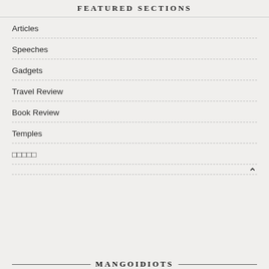FEATURED SECTIONS
Articles
Speeches
Gadgets
Travel Review
Book Review
Temples
□□□□□
MANGOIDIOTS